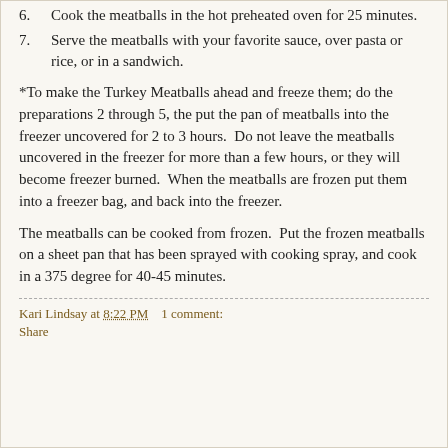6. Cook the meatballs in the hot preheated oven for 25 minutes.
7. Serve the meatballs with your favorite sauce, over pasta or rice, or in a sandwich.
*To make the Turkey Meatballs ahead and freeze them; do the preparations 2 through 5, the put the pan of meatballs into the freezer uncovered for 2 to 3 hours.  Do not leave the meatballs uncovered in the freezer for more than a few hours, or they will become freezer burned.  When the meatballs are frozen put them into a freezer bag, and back into the freezer.
The meatballs can be cooked from frozen.  Put the frozen meatballs on a sheet pan that has been sprayed with cooking spray, and cook in a 375 degree for 40-45 minutes.
Kari Lindsay at 8:22 PM    1 comment:
Share